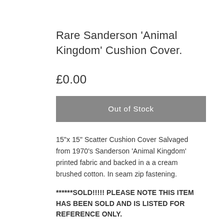Rare Sanderson 'Animal Kingdom' Cushion Cover.
£0.00
Out of Stock
15"x 15" Scatter Cushion Cover Salvaged from 1970's Sanderson 'Animal Kingdom' printed fabric and backed in a a cream brushed cotton. In seam zip fastening.
******SOLD!!!!! PLEASE NOTE THIS ITEM HAS BEEN SOLD AND IS LISTED FOR REFERENCE ONLY.